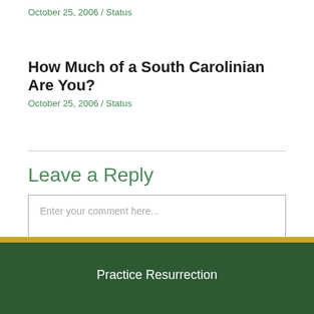October 25, 2006 / Status
How Much of a South Carolinian Are You?
October 25, 2006 / Status
Leave a Reply
Enter your comment here...
Practice Resurrection